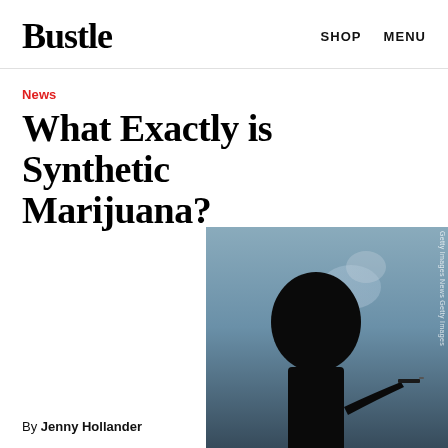Bustle   SHOP   MENU
News
What Exactly is Synthetic Marijuana?
[Figure (photo): Silhouette of a person smoking against a light sky background, dark dramatic photograph]
By Jenny Hollander